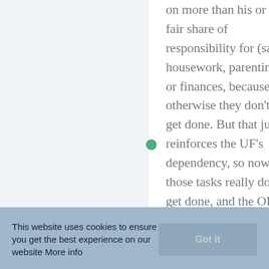on more than his or her fair share of responsibility for (say) housework, parenting, or finances, because otherwise they don't get done. But that just reinforces the UF's dependency, so now those tasks really don't get done, and the OF must do even more. The relationship curdles, each accusing the other of either laziness or nagging. Once you learn of the OF/UF pattern, it's hard to avoid seeing it everywhere, including a micromanaging boss who's surprised to find that the more they meddle in
This website uses cookies to ensure you get the best experience on our website More info